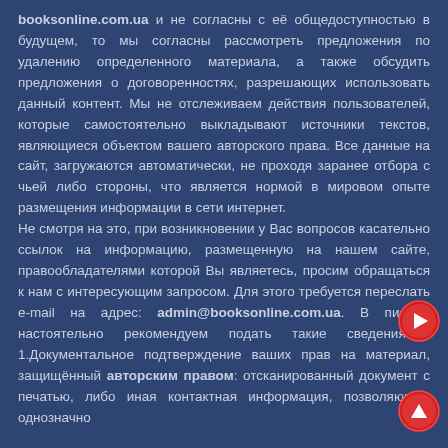booksonline.com.ua и не согласны с её общедоступностью в будущем, то мы согласны рассмотреть предложения по удалению определенного материала, а также обсудить предложения о договоренностях, разрешающих использовать данный контент. Мы не отслеживаем действия пользователей, которые самостоятельно выкладывают источники текстов, являющиеся объектом вашего авторского права. Все данные на сайт, загружаются автоматически, не проходя заранее отбора с чьей либо стороны, что является нормой в мировом опыте размещения информации в сети интернет.
Не смотря на это, при возникновении у Вас вопросов касательно ссылок на информацию, размещенную на нашем сайте, правообладателями которой Вы являетесь, просим обращаться к нам с интересующим запросом. Для этого требуется переслать e-mail на адрес: admin@booksonline.com.ua. В письме настоятельно рекомендуем подать такие сведения : 1.Документальное подтверждение ваших прав на материал, защищённый авторским правом: отсканированный документ с печатью, либо иная контактная информация, позволяющая однозначно
[Figure (other): Red circular navigation button with right arrow]
[Figure (other): Red circular navigation button with up arrow]